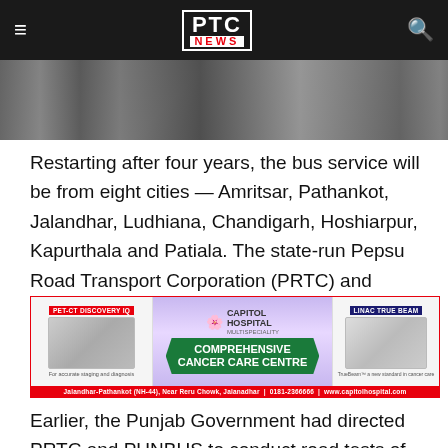PTC NEWS
[Figure (photo): Partial view of a bus or vehicle, dark/grey tones, cropped image strip]
Restarting after four years, the bus service will be from eight cities — Amritsar, Pathankot, Jalandhar, Ludhiana, Chandigarh, Hoshiarpur, Kapurthala and Patiala. The state-run Pepsu Road Transport Corporation (PRTC) and PUNBUS will run the luxury bus service to the Delhi Airport.
[Figure (infographic): Capitol Hospital advertisement - Comprehensive Cancer Care Centre. PET-CT Discovery IQ on left, LINAC True Beam on right. Address: Jalandhar-Pathankot (NH-44), Near Reru Chowk, Jalanadhar | 0181-2366666 | www.capitolhospital.com]
Earlier, the Punjab Government had directed PRTC and PUNBUS to conduct road tests of their VOLVO buses and told to keep their fleets ready. It is learnt that PRTC fare